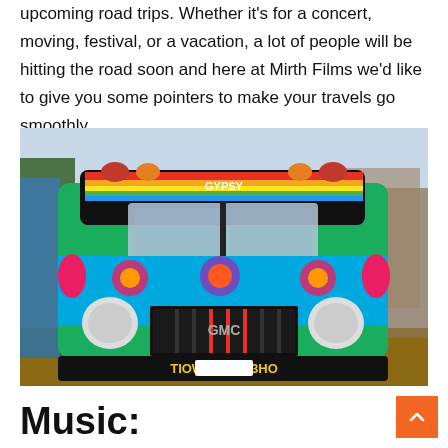upcoming road trips. Whether it's for a concert, moving, festival, or a vacation, a lot of people will be hitting the road soon and here at Mirth Films we'd like to give you some pointers to make your travels go smoothly.
[Figure (photo): Front view of a colorfully painted psychedelic GMC school bus decorated with bright patterns, flowers, and text, parked outdoors with trees in the background.]
Music: